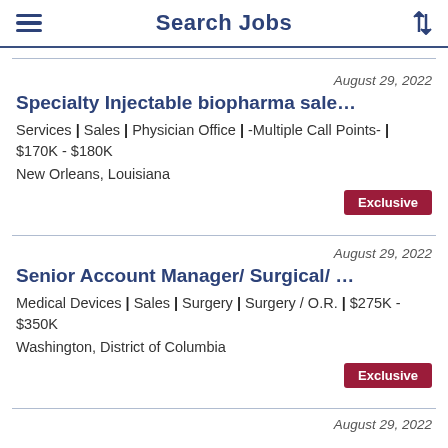Search Jobs
August 29, 2022
Specialty Injectable biopharma sale…
Services | Sales | Physician Office | -Multiple Call Points- | $170K - $180K
New Orleans, Louisiana
Exclusive
August 29, 2022
Senior Account Manager/ Surgical/ …
Medical Devices | Sales | Surgery | Surgery / O.R. | $275K - $350K
Washington, District of Columbia
Exclusive
August 29, 2022